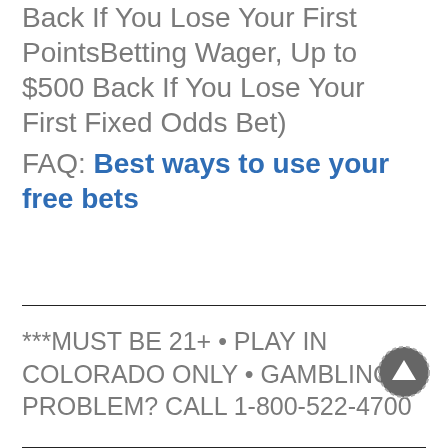Back If You Lose Your First PointsBetting Wager, Up to $500 Back If You Lose Your First Fixed Odds Bet) FAQ: Best ways to use your free bets
***MUST BE 21+ • PLAY IN COLORADO ONLY • GAMBLING PROBLEM? CALL 1-800-522-4700